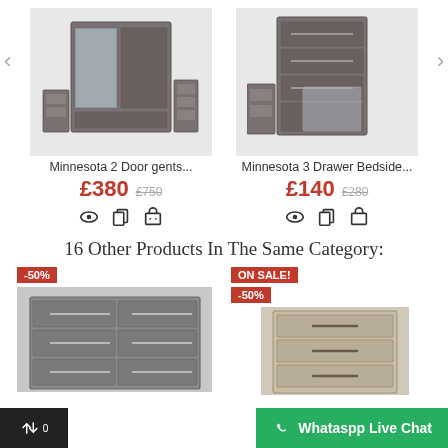[Figure (photo): Minnesota 2 Door gents wardrobe set in dark wood grain finish]
[Figure (photo): Minnesota 3 Drawer Bedside set in dark wood grain finish]
Minnesota 2 Door gents...
£380 £750
Minnesota 3 Drawer Bedside...
£140 £280
16 Other Products In The Same Category:
[Figure (photo): Grey chest of 6 drawers with -50% badge]
[Figure (photo): Light wood narrow chest of drawers with ON SALE! and -50% badges]